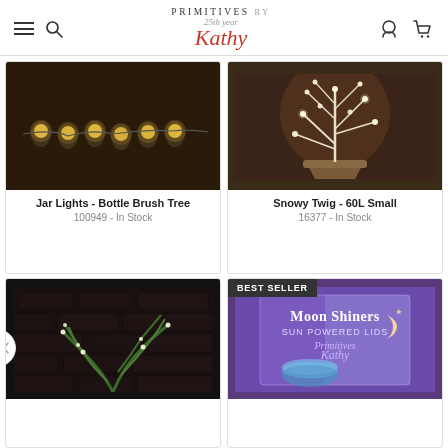Primitives by Kathy - 25th year
[Figure (photo): String of jar/mason jar lights arranged on a wooden surface with warm yellow glow]
Jar Lights - Bottle Brush Tree
100949 - In Stock
[Figure (photo): Snowy white twig light arrangement in a ceramic pot with small LED lights on branches]
Snowy Twig - 60L Small
16377 - In Stock
[Figure (photo): Green fern/plant with small lights arranged against a dark brick wall background]
[Figure (photo): Moon Shiners Sun Powered Lids product box, purple packaging with silver/blue jar lids. Best Seller badge shown.]